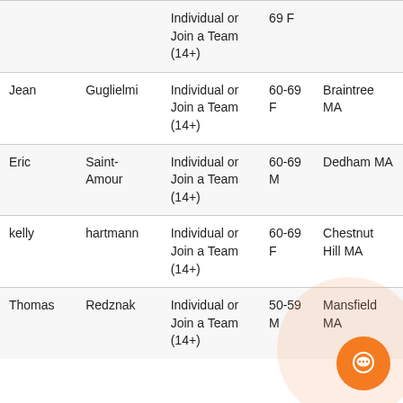| First | Last | Type | Age | Location |
| --- | --- | --- | --- | --- |
|  |  | Individual or Join a Team (14+) | 69 F |  |
| Jean | Guglielmi | Individual or Join a Team (14+) | 60-69 F | Braintree MA |
| Eric | Saint-Amour | Individual or Join a Team (14+) | 60-69 M | Dedham MA |
| kelly | hartmann | Individual or Join a Team (14+) | 60-69 F | Chestnut Hill MA |
| Thomas | Redznak | Individual or Join a Team (14+) | 50-59 M | Mansfield MA |